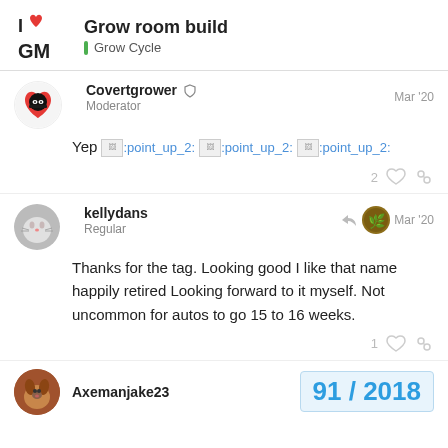Grow room build | Grow Cycle
Covertgrower Moderator Mar '20
Yep :point_up_2: :point_up_2: :point_up_2:
2 likes
kellydans Regular Mar '20
Thanks for the tag. Looking good I like that name happily retired Looking forward to it myself. Not uncommon for autos to go 15 to 16 weeks.
1 like
Axemanjake23 91 / 2018